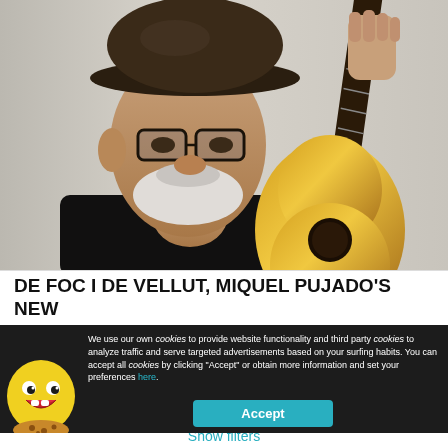[Figure (photo): Portrait of an older man with a dark fedora hat, glasses, a white beard and mustache, wearing a black shirt, holding a classical guitar close to his face against a light background.]
DE FOC I DE VELLUT, MIQUEL PUJADO'S NEW
We use our own cookies to provide website functionality and third party cookies to analyze traffic and serve targeted advertisements based on your surfing habits. You can accept all cookies by clicking "Accept" or obtain more information and set your preferences here.
Accept
Show filters